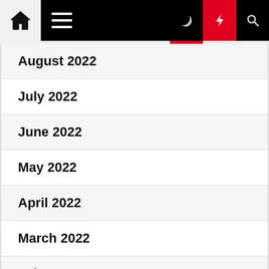Navigation bar with home, menu, dark mode, lightning, and search icons
August 2022
July 2022
June 2022
May 2022
April 2022
March 2022
February 2022
January 2022
December 2021